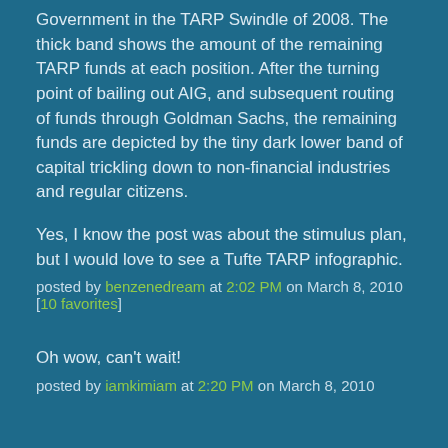Government in the TARP Swindle of 2008. The thick band shows the amount of the remaining TARP funds at each position. After the turning point of bailing out AIG, and subsequent routing of funds through Goldman Sachs, the remaining funds are depicted by the tiny dark lower band of capital trickling down to non-financial industries and regular citizens.
Yes, I know the post was about the stimulus plan, but I would love to see a Tufte TARP infographic.
posted by benzenedream at 2:02 PM on March 8, 2010 [10 favorites]
Oh wow, can't wait!
posted by iamkimiam at 2:20 PM on March 8, 2010